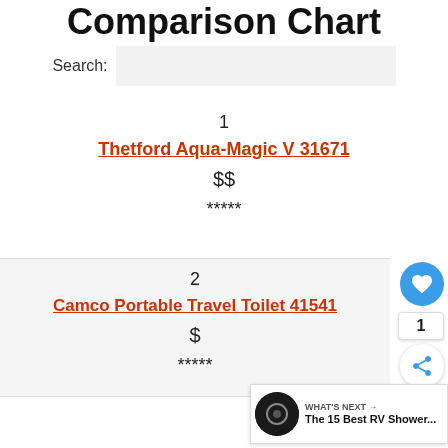Comparison Chart
Search:
1
Thetford Aqua-Magic V 31671
$$
*****
2
Camco Portable Travel Toilet 41541
$
*****